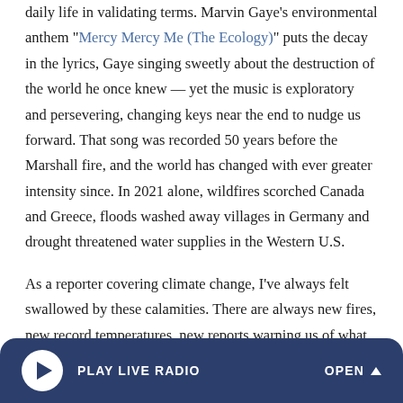daily life in validating terms. Marvin Gaye's environmental anthem "Mercy Mercy Me (The Ecology)" puts the decay in the lyrics, Gaye singing sweetly about the destruction of the world he once knew — yet the music is exploratory and persevering, changing keys near the end to nudge us forward. That song was recorded 50 years before the Marshall fire, and the world has changed with ever greater intensity since. In 2021 alone, wildfires scorched Canada and Greece, floods washed away villages in Germany and drought threatened water supplies in the Western U.S.
As a reporter covering climate change, I've always felt swallowed by these calamities. There are always new fires, new record temperatures, new reports warning us of what
PLAY LIVE RADIO   OPEN